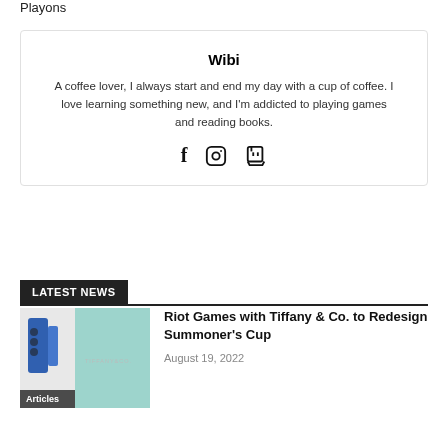Playons
Wibi
A coffee lover, I always start and end my day with a cup of coffee. I love learning something new, and I'm addicted to playing games and reading books.
[Figure (other): Social media icons: Facebook, Instagram, Twitch]
LATEST NEWS
[Figure (photo): Thumbnail image related to Tiffany & Co. with teal/mint background and Articles tag]
Riot Games with Tiffany & Co. to Redesign Summoner's Cup
August 19, 2022